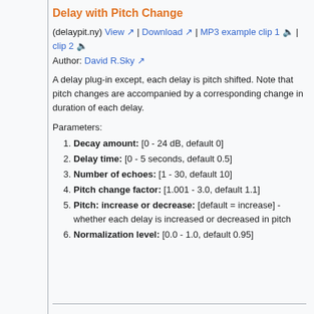Delay with Pitch Change
(delaypit.ny) View | Download | MP3 example clip 1 | clip 2
Author: David R.Sky
A delay plug-in except, each delay is pitch shifted. Note that pitch changes are accompanied by a corresponding change in duration of each delay.
Parameters:
Decay amount: [0 - 24 dB, default 0]
Delay time: [0 - 5 seconds, default 0.5]
Number of echoes: [1 - 30, default 10]
Pitch change factor: [1.001 - 3.0, default 1.1]
Pitch: increase or decrease: [default = increase] - whether each delay is increased or decreased in pitch
Normalization level: [0.0 - 1.0, default 0.95]